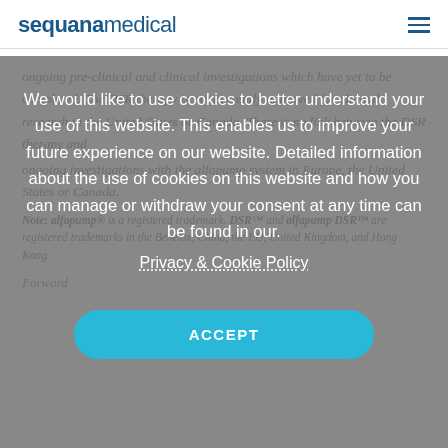sequanamedical
ongoing pre-clinical and clinical investigations which have yet to be completed. The DSR therapy is not currently approved for clinical research in the United States or Canada. There is no link between the DSR therapy and ongoing investigations with the alfapump system in Europe, the United States or Canada.
Note: alfapump® is a registered trademark. DSR™ and alfapump DSR™ are registered trademarks in the Benelux, China, the EU, United Kingdom, and Hong Kong.
We would like to use cookies to better understand your use of this website. This enables us to improve your future experience on our website. Detailed information about the use of cookies on this website and how you can manage or withdraw your consent at any time can be found in our.
Privacy & Cookie Policy
ACCEPT
Forward